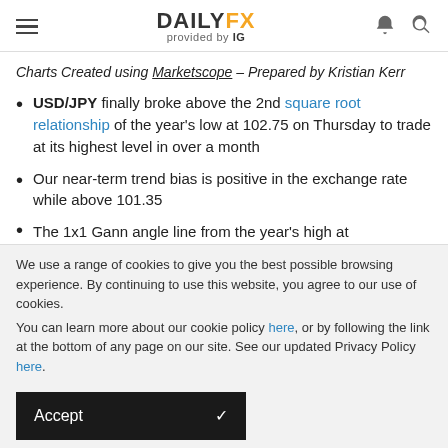DAILYFX provided by IG
Charts Created using Marketscope – Prepared by Kristian Kerr
USD/JPY finally broke above the 2nd square root relationship of the year's low at 102.75 on Thursday to trade at its highest level in over a month
Our near-term trend bias is positive in the exchange rate while above 101.35
The 1x1 Gann angle line from the year's high at [cut off]
We use a range of cookies to give you the best possible browsing experience. By continuing to use this website, you agree to our use of cookies.
You can learn more about our cookie policy here, or by following the link at the bottom of any page on our site. See our updated Privacy Policy here.